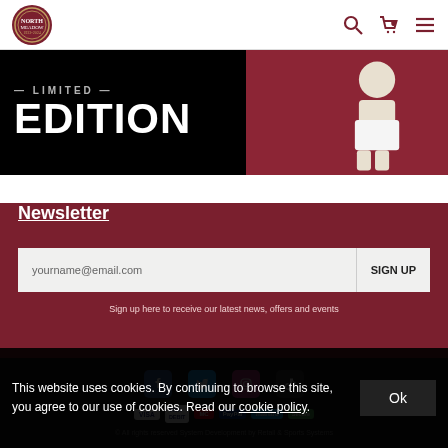[Figure (logo): Circular school/club crest logo in dark red]
[Figure (screenshot): Hero banner with LIMITED EDITION text in white on black background, with person in white shorts on dark red background]
Newsletter
yourname@email.com
SIGN UP
Sign up here to receive our latest news, offers and events
[Figure (infographic): Social media icons: Facebook, Twitter, Instagram, TikTok]
[Figure (infographic): Payment method badges: VISA, VISA Debit, Mastercard, PayPal, Maestro, Secure]
© All rights reserved System Development by Retail & Sports Systems
This website uses cookies. By continuing to browse this site, you agree to our use of cookies. Read our cookie policy.
Ok